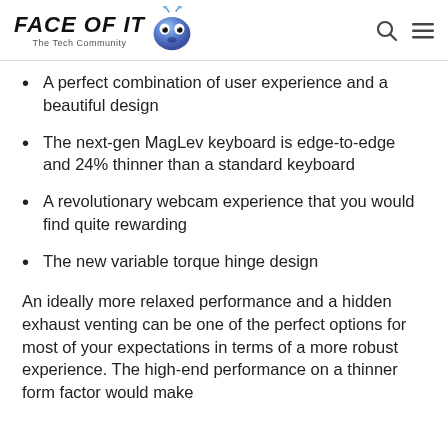FACE OF IT — The Tech Community
A perfect combination of user experience and a beautiful design
The next-gen MagLev keyboard is edge-to-edge and 24% thinner than a standard keyboard
A revolutionary webcam experience that you would find quite rewarding
The new variable torque hinge design
An ideally more relaxed performance and a hidden exhaust venting can be one of the perfect options for most of your expectations in terms of a more robust experience. The high-end performance on a thinner form factor would make